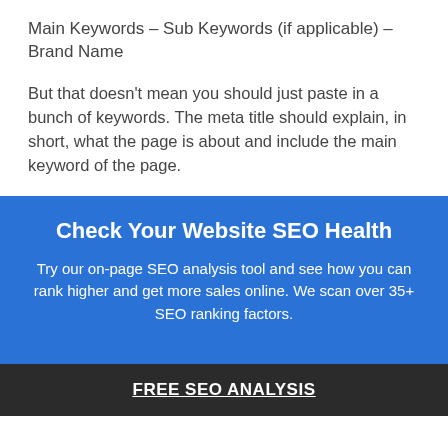Main Keywords – Sub Keywords (if applicable) – Brand Name
But that doesn't mean you should just paste in a bunch of keywords. The meta title should explain, in short, what the page is about and include the main keyword of the page.
[Figure (infographic): Blue promotional box with heading 'Check Your Website SEO Health', descriptive text about on-page SEO analysis tool, and a dark button labeled 'FREE SEO ANALYSIS']